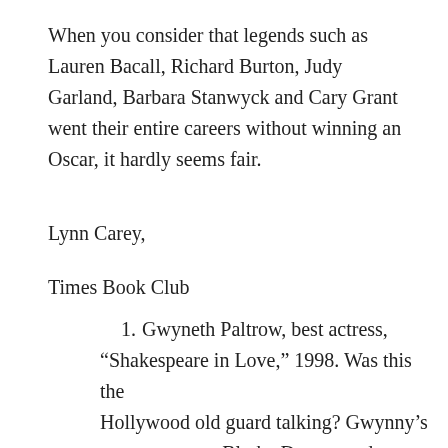When you consider that legends such as Lauren Bacall, Richard Burton, Judy Garland, Barbara Stanwyck and Cary Grant went their entire careers without winning an Oscar, it hardly seems fair.
Lynn Carey,
Times Book Club
1. Gwyneth Paltrow, best actress, “Shakespeare in Love,” 1998. Was this the Hollywood old guard talking? Gwynny’s parents actress Blythe Danner and director Bruce Paltrow are as adored as their daughter, who probably grew up in